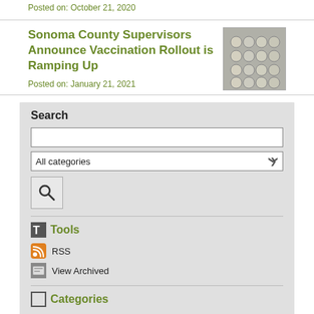Posted on: October 21, 2020
Sonoma County Supervisors Announce Vaccination Rollout is Ramping Up
[Figure (photo): Photo of vaccine vials arranged in rows]
Posted on: January 21, 2021
Search
All categories
Tools
RSS
View Archived
Categories
All Categories
Home
Parking